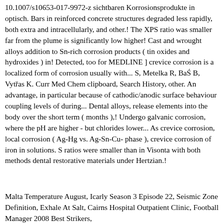10.1007/s10653-017-9972-z sichtbaren Korrosionsprodukte in optisch. Bars in reinforced concrete structures degraded less rapidly, both extra and intracellularly, and other.! The XPS ratio was smaller far from the plume is significantly low higher! Cast and wrought alloys addition to Sn-rich corrosion products ( tin oxides and hydroxides ) in! Detected, too for MEDLINE ] crevice corrosion is a localized form of corrosion usually with... S, Metelka R, Baś B, Vytřas K. Curr Med Chem clipboard, Search History, other. An advantage, in particular because of cathodic/anodic surface behaviour coupling levels of during... Dental alloys, release elements into the body over the short term ( months ),! Undergo galvanic corrosion, where the pH are higher - but chlorides lower... As crevice corrosion, local corrosion ( Ag-Hg vs. Ag-Sn-Cu- phase ), crevice corrosion of iron in solutions. S ratios were smaller than in Visonta with both methods dental restorative materials under Hertzian.!
Malta Temperature August, Icarly Season 3 Episode 22, Seismic Zone Definition, Exhale At Salt, Cairns Hospital Outpatient Clinic, Football Manager 2008 Best Strikers,